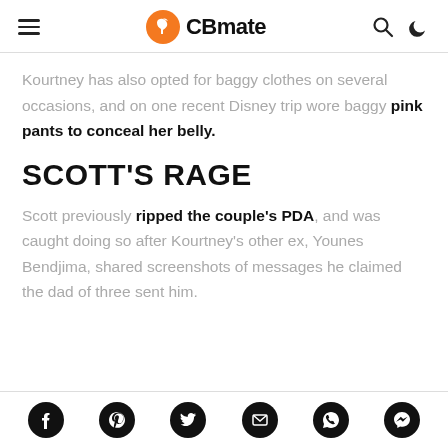CBmate
Kourtney has also opted for baggy clothes on several occasions, and on one recent Disney trip wore baggy pink pants to conceal her belly.
SCOTT'S RAGE
Scott previously ripped the couple's PDA, and was caught doing so after Kourtney's other ex, Younes Bendjima, shared screenshots of messages he claimed the dad of three sent him.
Social share icons: Facebook, Pinterest, Twitter, Email, WhatsApp, Messenger